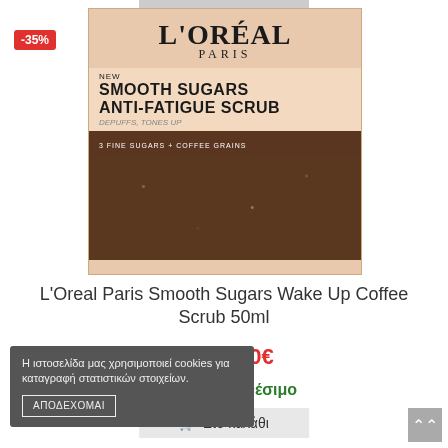[Figure (photo): L'Oreal Paris Smooth Sugars Anti-Fatigue Scrub product box with coffee scrub visible, showing brand name, product name, and coffee grain texture]
L'Oreal Paris Smooth Sugars Wake Up Coffee Scrub 50ml
9,99€  6,50€
✓ Άμεσα Διαθέσιμο
Στο καλάθι
Η ιστοσελίδα μας χρησιμοποιεί cookies για καταγραφή στατιστικών στοιχείων.
ΑΠΟΔΕΧΟΜΑΙ